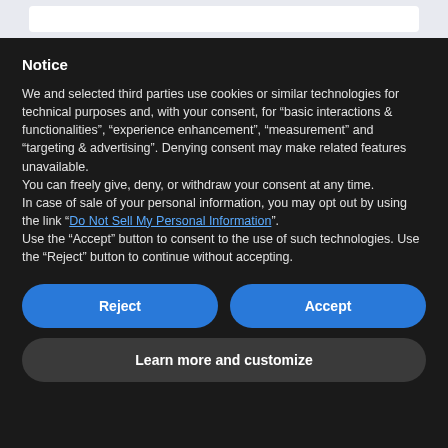Notice
We and selected third parties use cookies or similar technologies for technical purposes and, with your consent, for “basic interactions & functionalities”, “experience enhancement”, “measurement” and “targeting & advertising”. Denying consent may make related features unavailable.
You can freely give, deny, or withdraw your consent at any time.
In case of sale of your personal information, you may opt out by using the link “Do Not Sell My Personal Information”.
Use the “Accept” button to consent to the use of such technologies. Use the “Reject” button to continue without accepting.
Reject
Accept
Learn more and customize